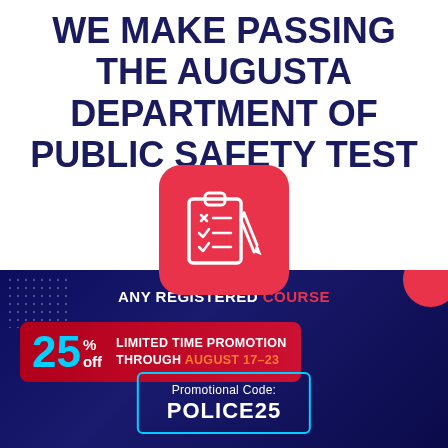WE MAKE PASSING THE AUGUSTA DEPARTMENT OF PUBLIC SAFETY TEST EASY.
[Figure (illustration): Three shield icons: dark navy on left, red in center, dark navy on right]
[Figure (illustration): Red rounded square icon with a clipboard checklist and pencil in white]
ANY REGISTERED COURSE
25% off LIMITED TIME PROMOTION THROUGH AUGUST 17-23
Promotional Code: POLICE25